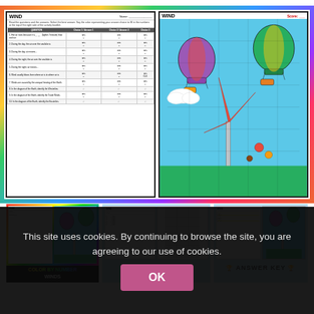[Figure (screenshot): Top product preview showing two pages: a 'WIND' worksheet with questions/table on the left and a color-by-number coloring page on the right, set against a rainbow gradient border.]
[Figure (screenshot): Thumbnail 1: Color By Number Winds cover showing worksheet and coloring page, labeled 'COLOR BY NUMBER WINDS']
[Figure (screenshot): Thumbnail 2: Student Sheet - two worksheet panels on light blue background]
[Figure (screenshot): Thumbnail 3: Answer Key - two highlighted panels on light blue background]
This site uses cookies. By continuing to browse the site, you are agreeing to our use of cookies.
OK